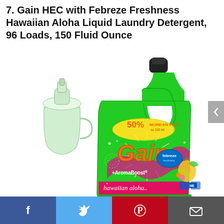7. Gain HEC with Febreze Freshness Hawaiian Aloha Liquid Laundry Detergent, 96 Loads, 150 Fluid Ounce
[Figure (photo): A large green Gain HEC liquid laundry detergent bottle with Febreze Freshness Hawaiian Aloha scent, 150 fl oz, 96 loads. The bottle features the Gain logo in orange, Febreze logo, +AromaBoost, hawaiian aloha label, tropical flowers and fruit decoration, and a yellow banner reading '50% MORE'. A smaller measuring cup is visible on the left.]
Facebook | Twitter | Pinterest | Email